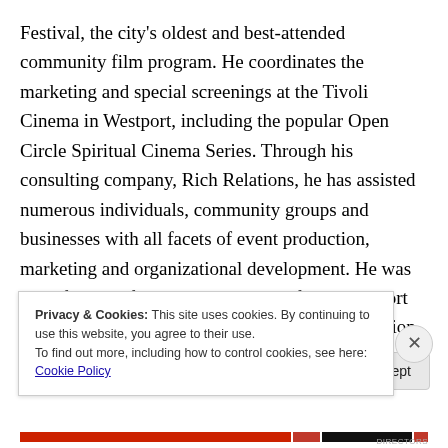Festival, the city's oldest and best-attended community film program. He coordinates the marketing and special screenings at the Tivoli Cinema in Westport, including the popular Open Circle Spiritual Cinema Series. Through his consulting company, Rich Relations, he has assisted numerous individuals, community groups and businesses with all facets of event production, marketing and organizational development. He was one of the the founding organizers of The Westport Center for the Arts, and the Cornerstone Foundation at Unity Temple on the Plaza. Jamie served for five years as the Center Director
Privacy & Cookies: This site uses cookies. By continuing to use this website, you agree to their use.
To find out more, including how to control cookies, see here: Cookie Policy
Close and accept
DIRECTORS